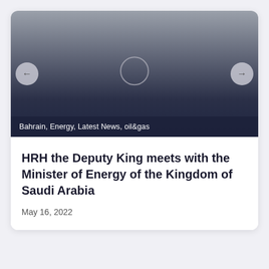[Figure (photo): Dark gradient background image area with a circular play/video button in the center, transitioning from gray at top to dark navy blue at bottom]
Bahrain, Energy, Latest News, oil&gas
HRH the Deputy King meets with the Minister of Energy of the Kingdom of Saudi Arabia
May 16, 2022